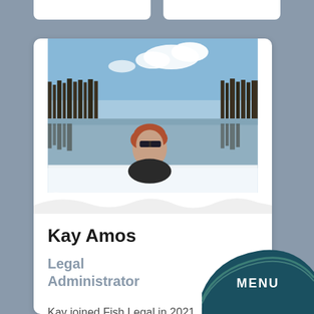[Figure (photo): Profile photo of Kay Amos, a woman with short reddish hair wearing dark sunglasses, outdoors near a reflective lake with bare winter trees and blue sky in background]
Kay Amos
Legal Administrator
Kay joined Fish Legal in 2021, having previously worked as a Data Administrator for a counselling service. Kay manages incoming